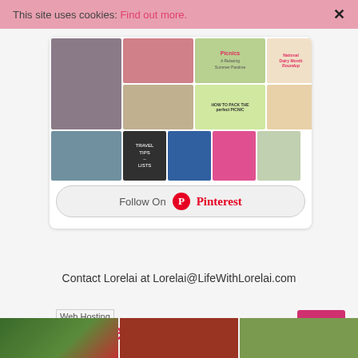This site uses cookies: Find out more. ✕
[Figure (screenshot): Pinterest grid collage with food, travel, and lifestyle images]
Follow On Pinterest
Contact Lorelai at Lorelai@LifeWithLorelai.com
[Figure (other): Web Hosting image placeholder]
Related Posts
[Figure (photo): Three thumbnail images at the bottom of the page]